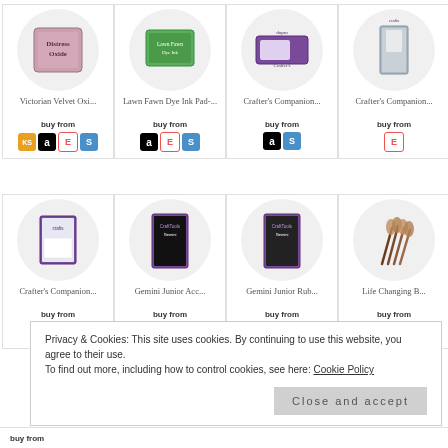[Figure (screenshot): Product grid showing 8 craft supply items with store purchase links, overlaid by a cookie consent banner. Row 1: Victorian Velvet Oxi..., Lawn Fawn Dye Ink Pad-..., Crafter's Companion..., Crafter's Companion... Row 2: Crafter's Companion..., Gemini Junior Acc..., Gemini Junior Rub..., Life Changing B...]
Privacy & Cookies: This site uses cookies. By continuing to use this website, you agree to their use. To find out more, including how to control cookies, see here: Cookie Policy
Close and accept
buy from